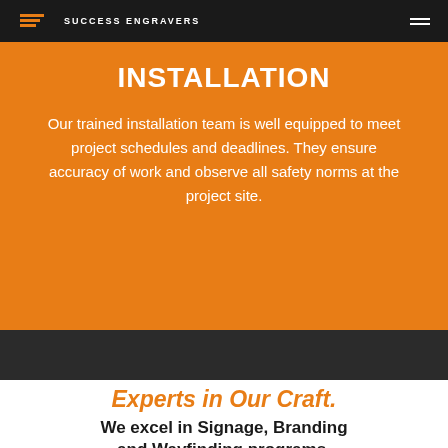[Figure (screenshot): Success Engravers logo and navigation bar with hamburger menu icon on dark background]
INSTALLATION
Our trained installation team is well equipped to meet project schedules and deadlines. They ensure accuracy of work and observe all safety norms at the project site.
Experts in Our Craft.
We excel in Signage, Branding and Wayfinding programs.